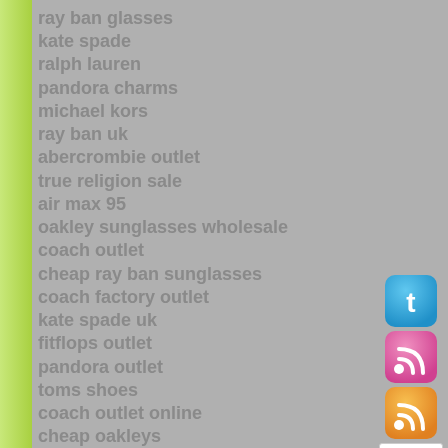ray ban glasses
kate spade
ralph lauren
pandora charms
michael kors
ray ban uk
abercrombie outlet
true religion sale
air max 95
oakley sunglasses wholesale
coach outlet
cheap ray ban sunglasses
coach factory outlet
kate spade uk
fitflops outlet
pandora outlet
toms shoes
coach outlet online
cheap oakleys
[Figure (illustration): Twitter bird icon (blue), RSS feed icon (pink), RSS feed icon (orange), and a cartoon hamster icon (white background)]